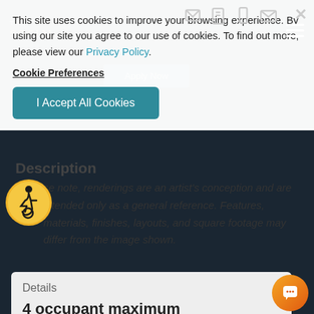This site uses cookies to improve your browsing experience. By using our site you agree to our use of cookies. To find out more, please view our Privacy Policy.
Cookie Preferences
I Accept All Cookies
Description
[Figure (illustration): Wheelchair accessibility icon — a circular yellow/orange badge with a stylized figure in a wheelchair]
Please note, renderings are an artist's conception and are intended only as a general reference. Features, materials, finishes, layouts, and square footage may differ from the image shown.
Details
4 occupant maximum